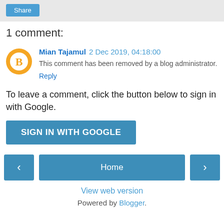[Figure (other): Share button on gray background bar]
1 comment:
Mian Tajamul  2 Dec 2019, 04:18:00
This comment has been removed by a blog administrator.
Reply
To leave a comment, click the button below to sign in with Google.
[Figure (other): SIGN IN WITH GOOGLE button]
[Figure (other): Navigation bar with left arrow, Home button, and right arrow]
View web version
Powered by Blogger.